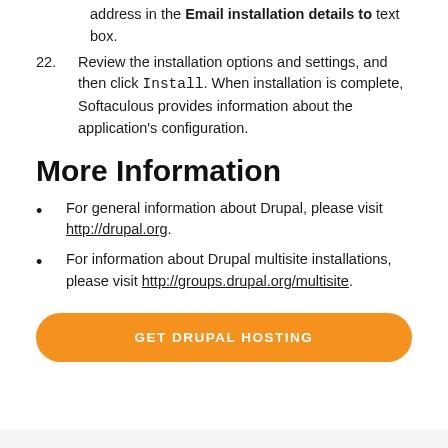address in the Email installation details to text box.
22. Review the installation options and settings, and then click Install. When installation is complete, Softaculous provides information about the application's configuration.
More Information
For general information about Drupal, please visit http://drupal.org.
For information about Drupal multisite installations, please visit http://groups.drupal.org/multisite.
GET DRUPAL HOSTING